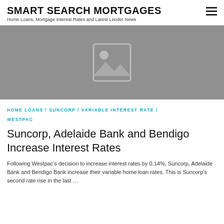SMART SEARCH MORTGAGES
Home Loans, Mortgage Interest Rates and Latest Lender News
[Figure (photo): Placeholder image with grey background and image icon]
HOME LOANS / SUNCORP / VARIABLE INTEREST RATE / WESTPAC
Suncorp, Adelaide Bank and Bendigo Increase Interest Rates
Following Westpac’s decision to increase interest rates by 0.14%, Suncorp, Adelaide Bank and Bendigo Bank increase their variable home loan rates. This is Suncorp’s second rate rise in the last …